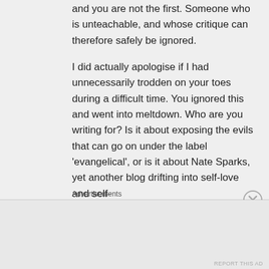and you are not the first. Someone who is unteachable, and whose critique can therefore safely be ignored.
I did actually apologise if I had unnecessarily trodden on your toes during a difficult time. You ignored this and went into meltdown. Who are you writing for? Is it about exposing the evils that can go on under the label ‘evangelical’, or is it about Nate Sparks, yet another blog drifting into self-love and self-
Advertisements